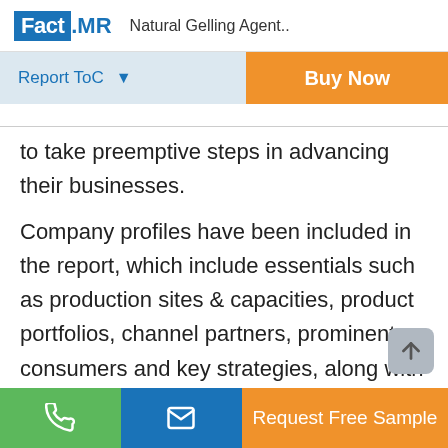Fact.MR  Natural Gelling Agent..
Report ToC   Buy Now
to take preemptive steps in advancing their businesses.
Company profiles have been included in the report, which include essentials such as production sites & capacities, product portfolios, channel partners, prominent consumers and key strategies, along with all-inclusive SWOT analysis on each player. Company presence is mapped and presented
Request Free Sample